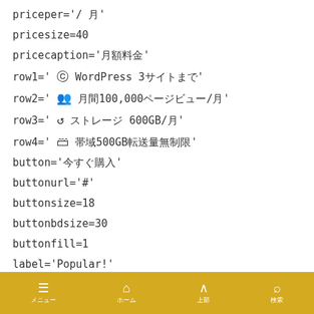priceper='/ 月'
pricesize=40
pricecaption='月額料金'
row1=' WordPress 3サイトまで'
row2=' 月間100,000ページビュー/月'
row3=' ストレージ 600GB/月'
row4=' 帯域500GB転送量無制限'
button='今すぐ購入'
buttonurl='#'
buttonsize=18
buttonbdsize=30
buttonfill=1
label='Popular!'
メニュー　ホーム　上部　検索